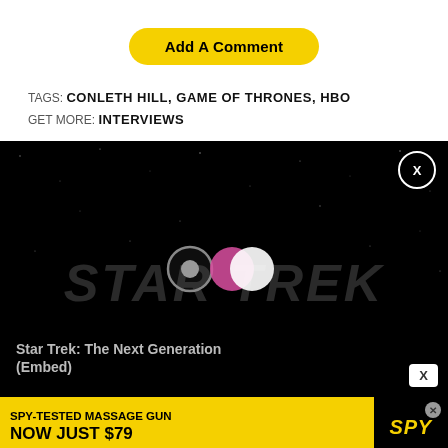Add A Comment
TAGS: CONLETH HILL, GAME OF THRONES, HBO
GET MORE: INTERVIEWS
[Figure (screenshot): Video embed player with dark/black background showing Star Trek: The Next Generation watermark text and Paramount+ icon. A close X button in top right circle. Title reads 'Star Trek: The Next Generation (Embed)' at bottom left. An X button in white box at bottom right.]
[Figure (photo): Advertisement banner at bottom: SPY-TESTED MASSAGE GUN NOW JUST $79 on yellow background with SPY logo in black italic on the right.]